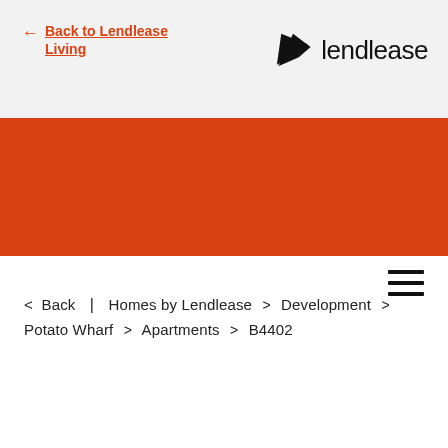← Back to Lendlease Living
[Figure (logo): Lendlease logo: black angular flag/pennant icon followed by the word 'lendlease' in black sans-serif text]
< Back | Homes by Lendlease > Development > Potato Wharf > Apartments > B4402